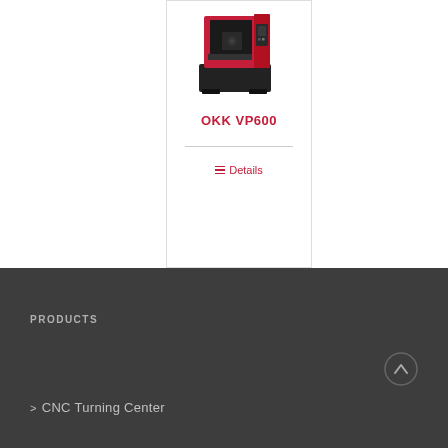[Figure (photo): Red and black CNC vertical machining center (OKK VP600) on a white background]
OKK VP600
≡ Details
PRODUCTS
> CNC Turning Center